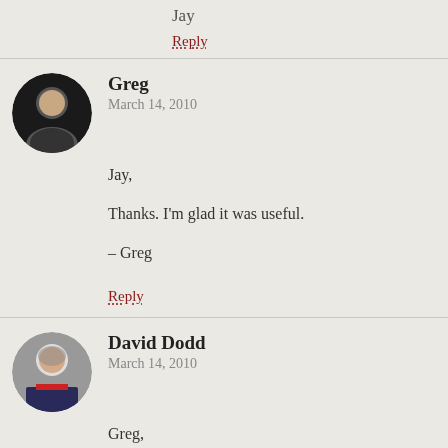Jay
Reply
Greg
March 14, 2010
Jay,

Thanks. I'm glad it was useful.

– Greg
Reply
David Dodd
March 14, 2010
Greg,

Like Jay, I enjoyed both this post and your earlier one on false gurus. In reading through the comments on your earlier post, I noticed that one person recommended Phil Rosenzweig's book, The Halo Effect. I strongly second that recommendation.